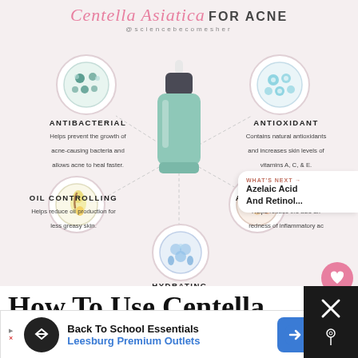[Figure (infographic): Centella Asiatica FOR ACNE infographic showing a mint-colored serum dropper bottle in the center, surrounded by 5 circular icons and benefit descriptions: ANTIBACTERIAL (Helps prevent the growth of acne-causing bacteria and allows acne to heal faster), ANTIOXIDANT (Contains natural antioxidants and increases skin levels of vitamins A, C, & E), OIL CONTROLLING (Helps reduce oil production for less greasy skin), ANTI-INFLAMMATORY (Helps reduce the size and redness of inflammatory acne), HYDRATING (Increases the amount of water in your skin which can help increase tolerance to other acne actives). @sciencebecomesher watermark. Pink/blush background.]
How To Use Centella
[Figure (screenshot): Advertisement banner: Back To School Essentials - Leesburg Premium Outlets, with navigation arrow icon]